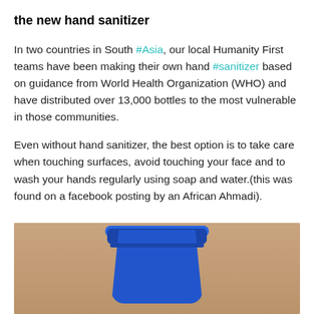the new hand sanitizer
In two countries in South #Asia, our local Humanity First teams have been making their own hand #sanitizer based on guidance from World Health Organization (WHO) and have distributed over 13,000 bottles to the most vulnerable in those communities.
Even without hand sanitizer, the best option is to take care when touching surfaces, avoid touching your face and to wash your hands regularly using soap and water.(this was found on a facebook posting by an African Ahmadi).
[Figure (photo): A blue plastic bucket/container photographed against a brown background.]